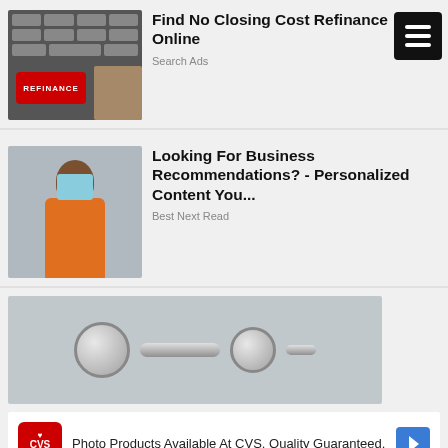[Figure (photo): Keyboard with a red REFINANCE key being pressed]
Find No Closing Cost Refinance Online
Search Ads
[Figure (photo): Woman in orange blazer with arms crossed]
Looking For Business Recommendations? - Personalized Content You...
Best Next Read
[Figure (photo): Close-up of motorcycle chrome handlebars]
[Figure (photo): CVS Pharmacy advertisement: Photo Products Available At CVS. Quality Guaranteed.]